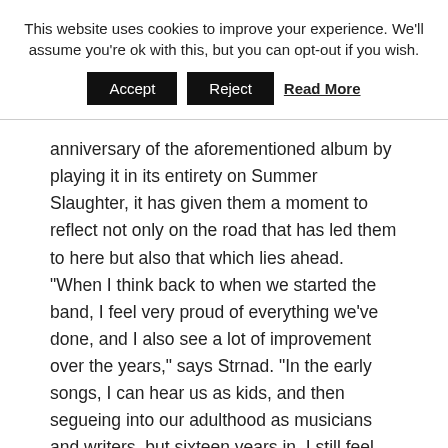This website uses cookies to improve your experience. We'll assume you're ok with this, but you can opt-out if you wish.
Accept  Reject  Read More
anniversary of the aforementioned album by playing it in its entirety on Summer Slaughter, it has given them a moment to reflect not only on the road that has led them to here but also that which lies ahead. “When I think back to when we started the band, I feel very proud of everything we’ve done, and I also see a lot of improvement over the years,” says Strnad. “In the early songs, I can hear us as kids, and then segueing into our adulthood as musicians and writers, but sixteen years in, I still feel young as a band. I feel like we have a shit ton left to